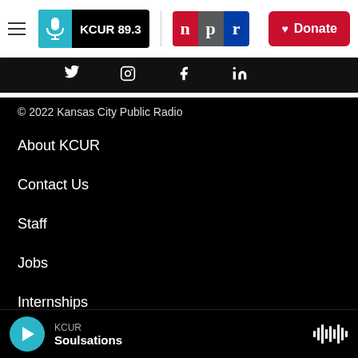[Figure (logo): KCUR 89.3 radio station navigation bar with hamburger menu, KCUR 89.3 logo, NPR logo, and red Donate button]
[Figure (infographic): Social media icons row (Twitter, Instagram, Facebook, LinkedIn) on dark background]
© 2022 Kansas City Public Radio
About KCUR
Contact Us
Staff
Jobs
Internships
Social Media Guidelines
Code of Ethics
[Figure (infographic): Audio player bar at bottom: teal play button, KCUR station label, Soulsations show title, waveform icon]